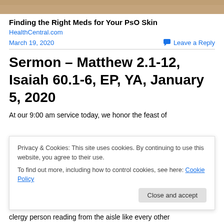[Figure (photo): Partial image of hands/skin visible at top of page]
Finding the Right Meds for Your PsO Skin
HealthCentral.com
March 19, 2020
Leave a Reply
Sermon – Matthew 2.1-12, Isaiah 60.1-6, EP, YA, January 5, 2020
At our 9:00 am service today, we honor the feast of
Privacy & Cookies: This site uses cookies. By continuing to use this website, you agree to their use.
To find out more, including how to control cookies, see here: Cookie Policy
Close and accept
clergy person reading from the aisle like every other